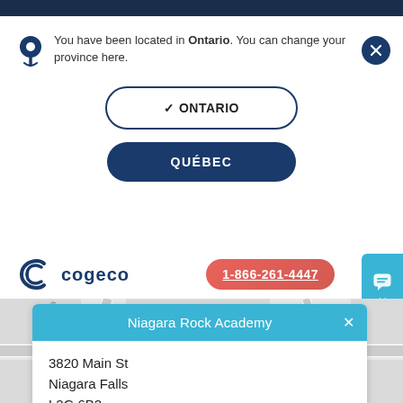You have been located in Ontario. You can change your province here.
✓ ONTARIO
QUÉBEC
[Figure (logo): Cogeco logo with stylized C icon and text]
1-866-261-4447
[Figure (map): Street map showing intersection near Niagara Falls area]
Niagara Rock Academy
3820 Main St
Niagara Falls
L2G 6B2